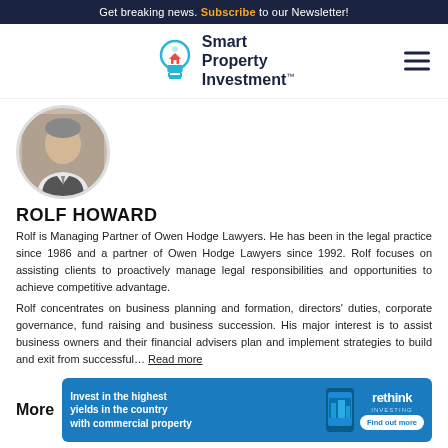Get breaking news. Subscribe to our Newsletter!
[Figure (logo): Smart Property Investment logo with lightbulb icon]
[Figure (photo): Circular profile photo of Rolf Howard]
ROLF HOWARD
Rolf is Managing Partner of Owen Hodge Lawyers. He has been in the legal practice since 1986 and a partner of Owen Hodge Lawyers since 1992. Rolf focuses on assisting clients to proactively manage legal responsibilities and opportunities to achieve competitive advantage.
Rolf concentrates on business planning and formation, directors' duties, corporate governance, fund raising and business succession. His major interest is to assist business owners and their financial advisers plan and implement strategies to build and exit from successful… Read more
More
[Figure (infographic): Advertisement banner: Invest in the highest yields in the country with commercial property - rethink investing, Find out more]